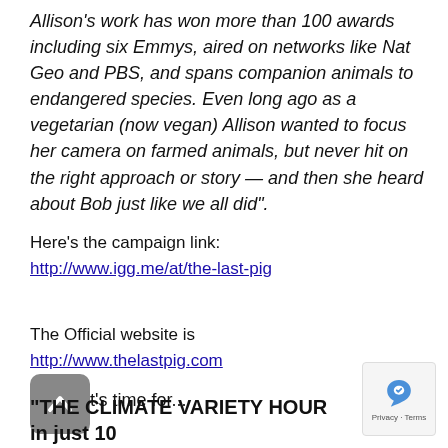Allison's work has won more than 100 awards including six Emmys, aired on networks like Nat Geo and PBS, and spans companion animals to endangered species. Even long ago as a vegetarian (now vegan) Allison wanted to focus her camera on farmed animals, but never hit on the right approach or story — and then she heard about Bob just like we all did".
Here's the campaign link:
http://www.igg.me/at/the-last-pig
The Official website is
http://www.thelastpig.com
Alright it's time for...
"THE CLIMATE VARIETY HOUR    in just 10